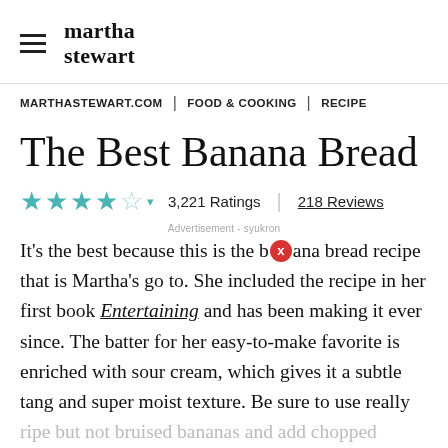martha stewart
MARTHASTEWART.COM | FOOD & COOKING | RECIPE
The Best Banana Bread
3,221 Ratings | 218 Reviews
Advertisement - syukron
It's the best because this is the banana bread recipe that is Martha's go to. She included the recipe in her first book Entertaining and has been making it ever since. The batter for her easy-to-make favorite is enriched with sour cream, which gives it a subtle tang and super moist texture. Be sure to use really ripe but not bruised bananas and add chopped walnuts or pecans—Martha always goes with